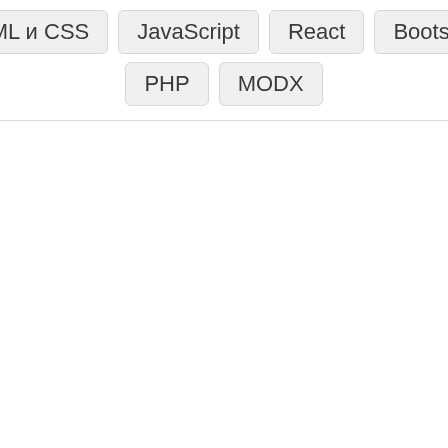HTML и CSS
JavaScript
React
Bootstrap
PHP
MODX